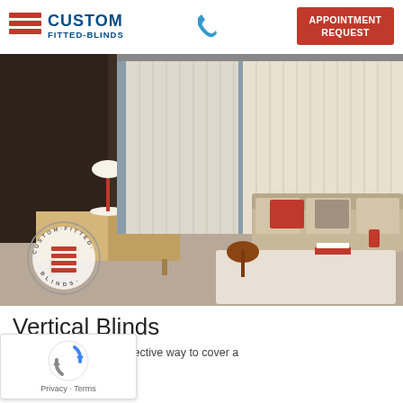[Figure (logo): Custom Fitted-Blinds logo with red horizontal lines icon and blue text reading CUSTOM FITTED-BLINDS]
[Figure (photo): Interior living room with vertical blinds on large windows, sofa with red cushions, sideboard with lamp, coffee table]
Vertical Blinds
Vertical Blinds are an effective way to cover a